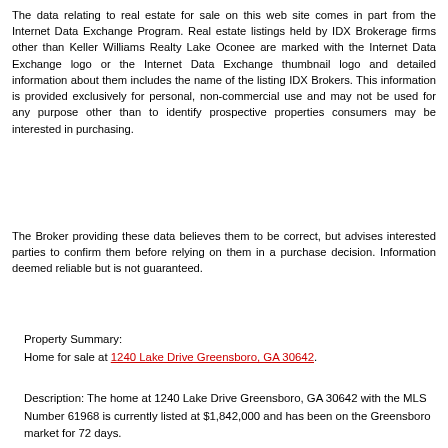The data relating to real estate for sale on this web site comes in part from the Internet Data Exchange Program. Real estate listings held by IDX Brokerage firms other than Keller Williams Realty Lake Oconee are marked with the Internet Data Exchange logo or the Internet Data Exchange thumbnail logo and detailed information about them includes the name of the listing IDX Brokers. This information is provided exclusively for personal, non-commercial use and may not be used for any purpose other than to identify prospective properties consumers may be interested in purchasing.
The Broker providing these data believes them to be correct, but advises interested parties to confirm them before relying on them in a purchase decision. Information deemed reliable but is not guaranteed.
Property Summary:
Home for sale at 1240 Lake Drive Greensboro, GA 30642.
Description: The home at 1240 Lake Drive Greensboro, GA 30642 with the MLS Number 61968 is currently listed at $1,842,000 and has been on the Greensboro market for 72 days.